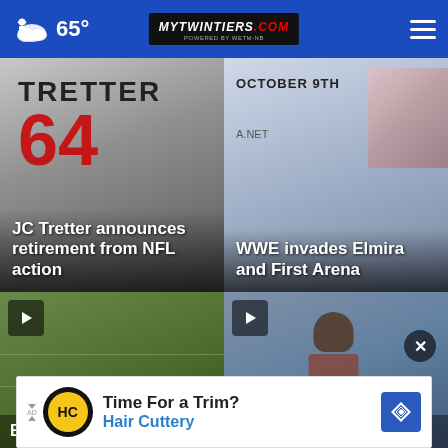65° mytwintiers.com
[Figure (photo): Football jersey with TRETTER and number 64 in red on white, JC Tretter announces retirement from NFL action]
JC Tretter announces retirement from NFL action
[Figure (photo): WWE event promotional image showing October 9th, WWE invades Elmira and First Arena]
WWE invades Elmira and First Arena
[Figure (photo): Video thumbnail of football field with play button, Elmira football story]
Elmira football
[Figure (photo): Video thumbnail of man in cowboy hat at outdoor event with play button, Sights & Sounds story]
Sights & Sounds
[Figure (other): Advertisement banner: Time For a Trim? Hair Cuttery]
Time For a Trim? Hair Cuttery